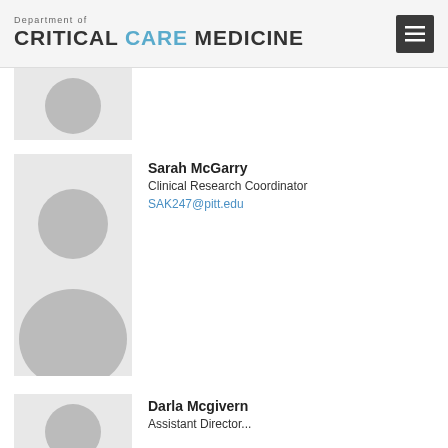Department of Critical Care Medicine
[Figure (photo): Placeholder silhouette photo (partial, cropped at top)]
[Figure (photo): Placeholder silhouette photo for Sarah McGarry]
Sarah McGarry
Clinical Research Coordinator
SAK247@pitt.edu
[Figure (photo): Placeholder silhouette photo for Darla Mcgivern (partial, cropped at bottom)]
Darla Mcgivern
Assistant Director...